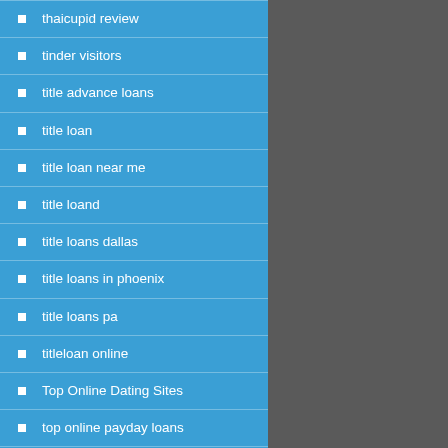thaicupid review
tinder visitors
title advance loans
title loan
title loan near me
title loand
title loans dallas
title loans in phoenix
title loans pa
titleloan online
Top Online Dating Sites
top online payday loans
top pay day loan